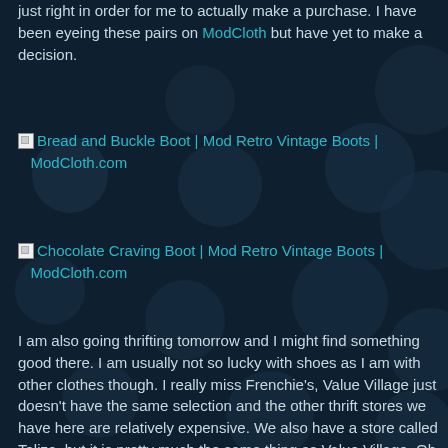just right in order for me to actually make a purchase. I have been eyeing these pairs on ModCloth but have yet to make a decision.
[Figure (other): Broken image placeholder with link text: Bread and Buckle Boot | Mod Retro Vintage Boots | ModCloth.com]
[Figure (other): Broken image placeholder with link text: Chocolate Craving Boot | Mod Retro Vintage Boots | ModCloth.com]
I am also going thrifting tomorrow and I might find something good there. I am usually not so lucky with shoes as I am with other clothes though. I really miss Frenchie's, Value Village just doesn't have the same selection and the other thrift stores we have here are relatively expensive. We also have a store called Talize, but it is pretty much the same thing as Value Village. Oh the woes of thrifting in Hamilton, we used to have a much better selection. Does anyone else have as much trouble choosing footwear as I do?